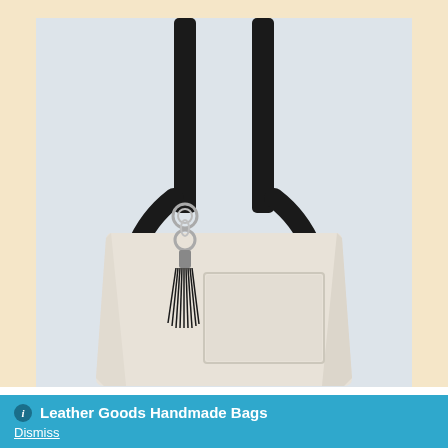[Figure (photo): A white/cream leather tote bag with black shoulder straps and a black tassel charm with silver ring hardware. The bag has a front patch pocket. Photographed against a white background.]
Medium size tote, Shoulder Bag, Tote
Zha Zha Tote – Medium Size Tote Bag – Front Pocket
Leather Goods Handmade Bags
Dismiss